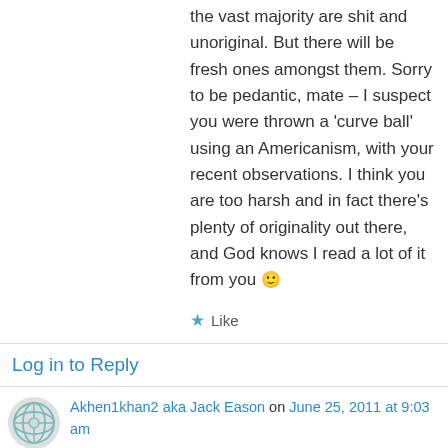the vast majority are shit and unoriginal. But there will be fresh ones amongst them. Sorry to be pedantic, mate – I suspect you were thrown a 'curve ball' using an Americanism, with your recent observations. I think you are too harsh and in fact there's plenty of originality out there, and God knows I read a lot of it from you 🙂
★ Like
Log in to Reply
Akhen1khan2 aka Jack Eason on June 25, 2011 at 9:03 am
Perhaps I should have subtitled the post – Coincidence? 🙂